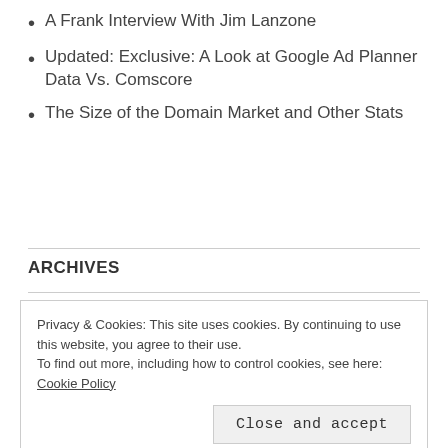A Frank Interview With Jim Lanzone
Updated: Exclusive: A Look at Google Ad Planner Data Vs. Comscore
The Size of the Domain Market and Other Stats
ARCHIVES
Privacy & Cookies: This site uses cookies. By continuing to use this website, you agree to their use.
To find out more, including how to control cookies, see here: Cookie Policy